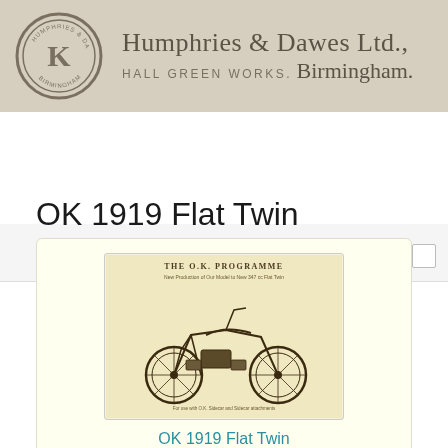[Figure (logo): Humphries & Dawes Ltd. letterhead banner with circular 'K' logo on left and text 'Humphries & Dawes Ltd., Hall Green Works, Birmingham.' on beige/tan background]
OK 1919 Flat Twin
[Figure (photo): OK Programme catalogue image showing a flat-twin motorcycle illustration with text 'THE O.K. PROGRAMME' at top]
OK 1919 Flat Twin
The new 2 3/4 h.p. O.K. flat twin as it will